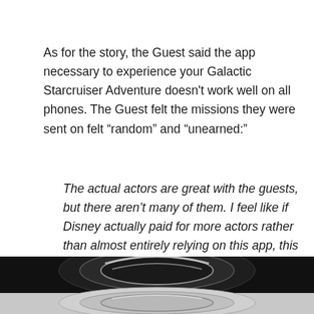As for the story, the Guest said the app necessary to experience your Galactic Starcruiser Adventure doesn't work well on all phones. The Guest felt the missions they were sent on felt “random” and “unearned:”
The actual actors are great with the guests, but there aren’t many of them. I feel like if Disney actually paid for more actors rather than almost entirely relying on this app, this wouldn’t be a problem.
[Figure (photo): Close-up photo of a metallic sci-fi styled circular element, likely from the Star Wars Galactic Starcruiser, showing chrome and dark materials with a space-themed aesthetic. The top portion shows a dark background with the metallic object, and the bottom portion shows a lighter grey version of a similar element.]